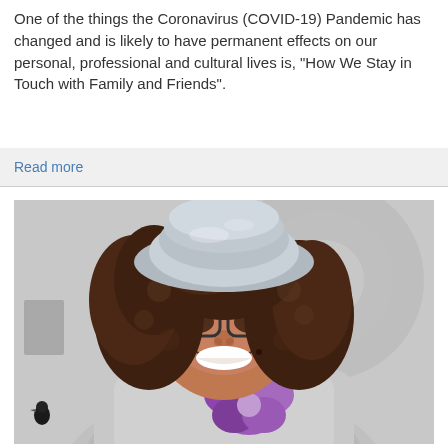One of the things the Coronavirus (COVID-19) Pandemic has changed and is likely to have permanent effects on our personal, professional and cultural lives is, "How We Stay in Touch with Family and Friends".
Read more
[Figure (photo): A smiling woman with curly dark hair, wearing glasses and a silver sparkly hat/beret, with a purple flower accessory at her neckline and a silver glittery outfit. She is photographed indoors with a decorative background.]